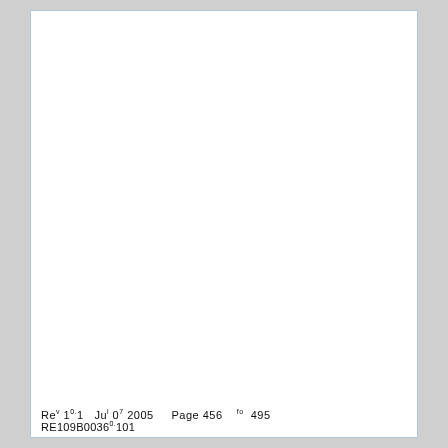Rev 1.1 Jul 07 2005   Page 456   fo 495
RE109B0036.101